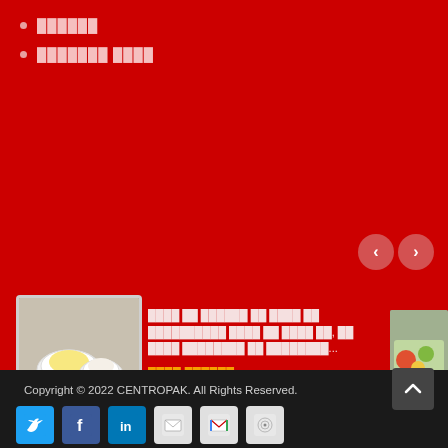██████
███████ ████
[Figure (other): Navigation previous/next carousel buttons (semi-transparent circles with < and > arrows)]
[Figure (photo): Left thumbnail: white ceramic ramekin dishes with yellow liquid]
████ ██ ██████ ██ ████ ██ ██████████ ████ ██ ████ ██, ██ ████ ████████ ██ ████████...
████ ██████
[Figure (photo): Right thumbnail: partial image, appears to show food/salad]
Copyright © 2022 CENTROPAK. All Rights Reserved.
[Figure (other): Social media icons: Twitter, Facebook, LinkedIn, email, Gmail, RSS]